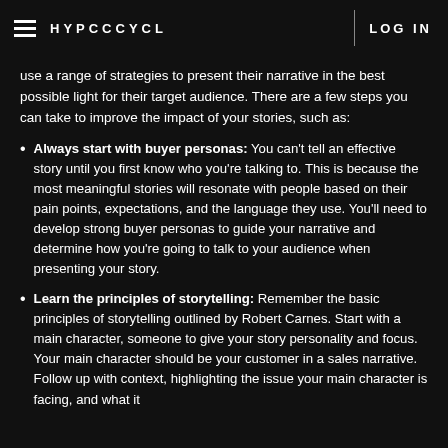HYPCCCYCL | LOG IN
use a range of strategies to present their narrative in the best possible light for their target audience. There are a few steps you can take to improve the impact of your stories, such as:
Always start with buyer personas: You can't tell an effective story until you first know who you're talking to. This is because the most meaningful stories will resonate with people based on their pain points, expectations, and the language they use. You'll need to develop strong buyer personas to guide your narrative and determine how you're going to talk to your audience when presenting your story.
Learn the principles of storytelling: Remember the basic principles of storytelling outlined by Robert Carnes. Start with a main character, someone to give your story personality and focus. Your main character should be your customer in a sales narrative. Follow up with context, highlighting the issue your main character is facing, and what it